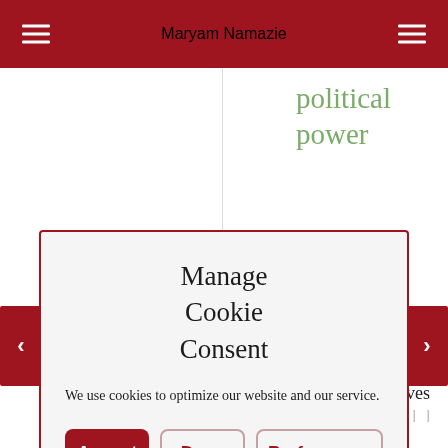Maryam Namazie
political power
Manage Cookie Consent
We use cookies to optimize our website and our service.
Accept
Deny
Preferences
supermanlives
Nov 9 2011  |  |